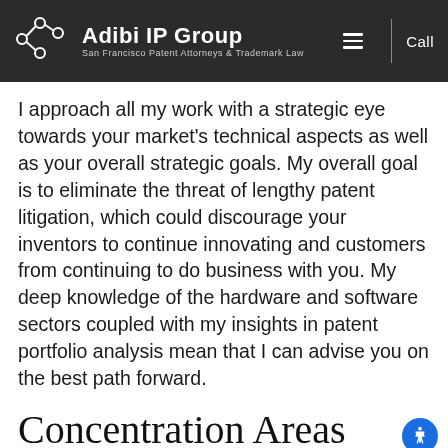[Figure (logo): Adibi IP Group logo with network node icon, white text on dark background. Subtitle: San Francisco Patent Attorneys & Trademark Law. Navigation includes hamburger menu and Call button.]
I approach all my work with a strategic eye towards your market's technical aspects as well as your overall strategic goals. My overall goal is to eliminate the threat of lengthy patent litigation, which could discourage your inventors to continue innovating and customers from continuing to do business with you. My deep knowledge of the hardware and software sectors coupled with my insights in patent portfolio analysis mean that I can advise you on the best path forward.
Concentration Areas